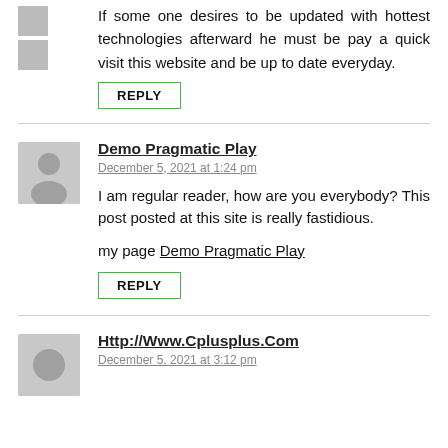If some one desires to be updated with hottest technologies afterward he must be pay a quick visit this website and be up to date everyday.
REPLY
Demo Pragmatic Play
December 5, 2021 at 1:24 pm
I am regular reader, how are you everybody? This post posted at this site is really fastidious.
my page Demo Pragmatic Play
REPLY
Http://Www.Cplusplus.Com
December 5, 2021 at 3:12 pm